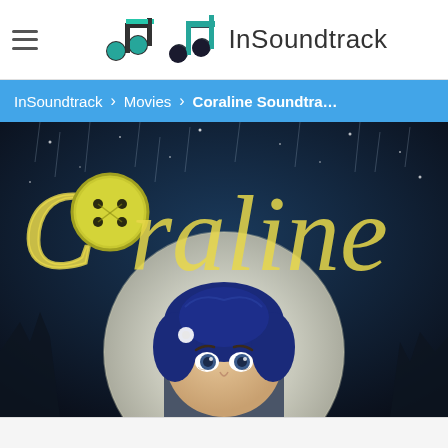InSoundtrack
InSoundtrack > Movies > Coraline Soundtra…
[Figure (screenshot): Coraline movie poster showing the animated character with blue hair in front of a full moon, with stylized yellow text reading 'Coraline' at the top against a dark night sky with rain]